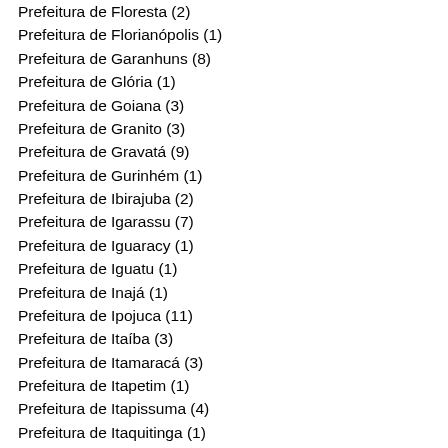Prefeitura de Floresta (2)
Prefeitura de Florianópolis (1)
Prefeitura de Garanhuns (8)
Prefeitura de Glória (1)
Prefeitura de Goiana (3)
Prefeitura de Granito (3)
Prefeitura de Gravatá (9)
Prefeitura de Gurinhém (1)
Prefeitura de Ibirajuba (2)
Prefeitura de Igarassu (7)
Prefeitura de Iguaracy (1)
Prefeitura de Iguatu (1)
Prefeitura de Inajá (1)
Prefeitura de Ipojuca (11)
Prefeitura de Itaíba (3)
Prefeitura de Itamaracá (3)
Prefeitura de Itapetim (1)
Prefeitura de Itapissuma (4)
Prefeitura de Itaquitinga (1)
Prefeitura de Itaú (1)
Prefeitura de Jaboatão dos Guararapes (3)
Prefeitura de Jataúba (9)
Prefeitura de João Alfredo (1)